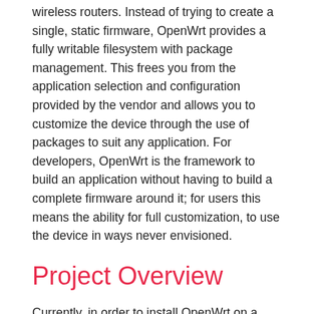wireless routers. Instead of trying to create a single, static firmware, OpenWrt provides a fully writable filesystem with package management. This frees you from the application selection and configuration provided by the vendor and allows you to customize the device through the use of packages to suit any application. For developers, OpenWrt is the framework to build an application without having to build a complete firmware around it; for users this means the ability for full customization, to use the device in ways never envisioned.
Project Overview
Currently, in order to install OpenWrt on a device, the user has to go through a very confusing process. Later, upgrading to the newer version of OpenWrt is another hassle. And often the end users are not that technically literate to carry out the process smoothly.
The aim of this project is to simplify this whole process by